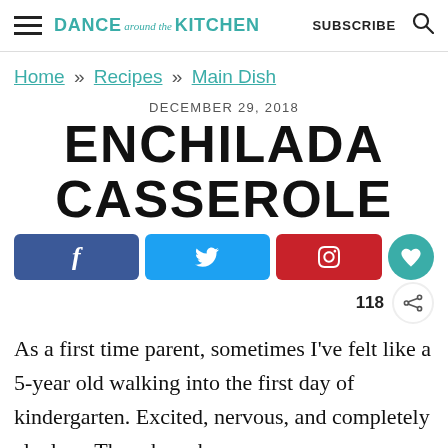DANCE around the KITCHEN   SUBSCRIBE
Home » Recipes » Main Dish
DECEMBER 29, 2018
ENCHILADA CASSEROLE
[Figure (infographic): Social share buttons: Facebook, Twitter, Pinterest, and a heart/save button with 118 saves and a share icon]
As a first time parent, sometimes I've felt like a 5-year old walking into the first day of kindergarten. Excited, nervous, and completely clueless. There have been many